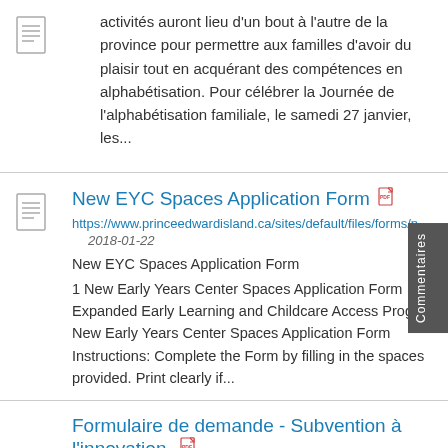activités auront lieu d'un bout à l'autre de la province pour permettre aux familles d'avoir du plaisir tout en acquérant des compétences en alphabétisation. Pour célébrer la Journée de l'alphabétisation familiale, le samedi 27 janvier, les...
New EYC Spaces Application Form
https://www.princeedwardisland.ca/sites/default/files/forms/n
2018-01-22
New EYC Spaces Application Form
1 New Early Years Center Spaces Application Form Expanded Early Learning and Childcare Access Program New Early Years Center Spaces Application Form Instructions: Complete the Form by filling in the spaces provided. Print clearly if...
Formulaire de demande - Subvention à l'innovation